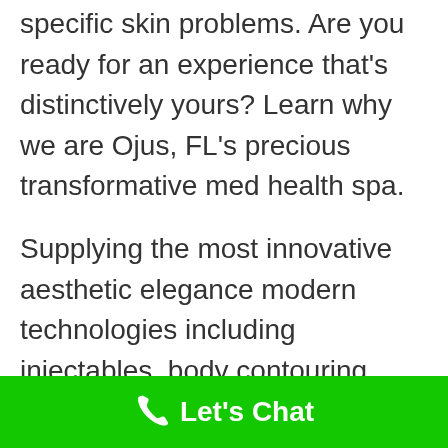specific skin problems. Are you ready for an experience that's distinctively yours? Learn why we are Ojus, FL's precious transformative med health spa.
Supplying the most innovative aesthetic elegance modern technologies including injectables, body contouring, facials, injectables, and various other specialist skincare services, we at Miami Anti Aging Solutions...
Let's Chat